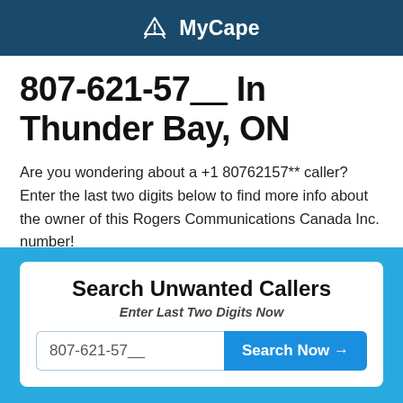MyCape
807-621-57__ In Thunder Bay, ON
Are you wondering about a +1 80762157** caller? Enter the last two digits below to find more info about the owner of this Rogers Communications Canada Inc. number!
Search Unwanted Callers
Enter Last Two Digits Now
807-621-57__  Search Now →